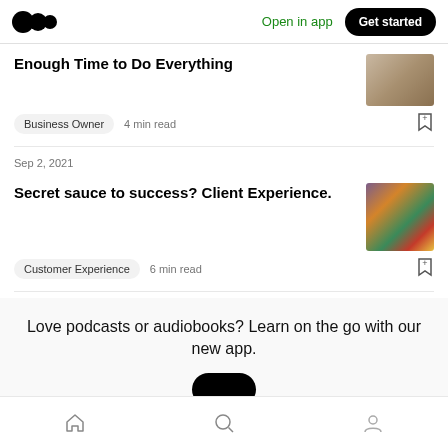Medium logo | Open in app | Get started
Enough Time to Do Everything
Business Owner  4 min read
Sep 2, 2021
Secret sauce to success? Client Experience.
Customer Experience  6 min read
Love podcasts or audiobooks? Learn on the go with our new app.
Home | Search | Profile